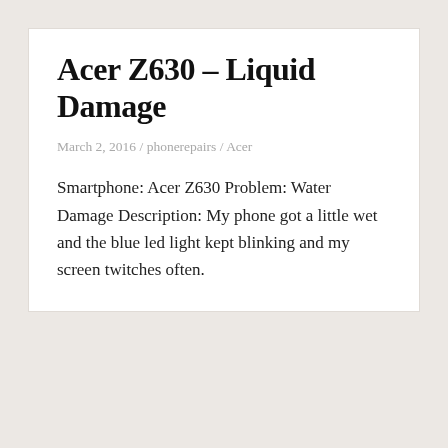Acer Z630 – Liquid Damage
March 2, 2016 / phonerepairs / Acer
Smartphone: Acer Z630 Problem: Water Damage Description: My phone got a little wet and the blue led light kept blinking and my screen twitches often.